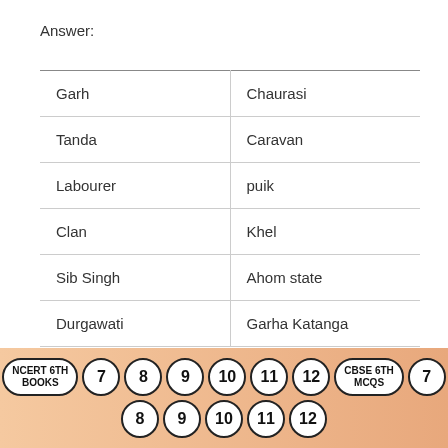Answer:
| Garh | Chaurasi |
| Tanda | Caravan |
| Labourer | puik |
| Clan | Khel |
| Sib Singh | Ahom state |
| Durgawati | Garha Katanga |
NCERT 6TH BOOKS  7  8  9  10  11  12  CBSE 6TH MCQS  7  8  9  10  11  12